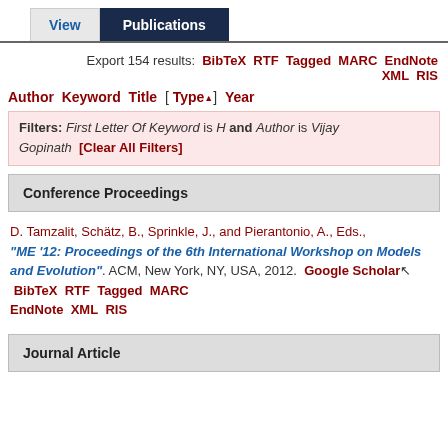Export 154 results: BibTeX RTF Tagged MARC EndNote XML RIS
Author Keyword Title [ Type▲] Year
Filters: First Letter Of Keyword is H and Author is Vijay Gopinath [Clear All Filters]
Conference Proceedings
D. Tamzalit, Schätz, B., Sprinkle, J., and Pierantonio, A., Eds., "ME '12: Proceedings of the 6th International Workshop on Models and Evolution". ACM, New York, NY, USA, 2012. Google Scholar BibTeX RTF Tagged MARC EndNote XML RIS
Journal Article